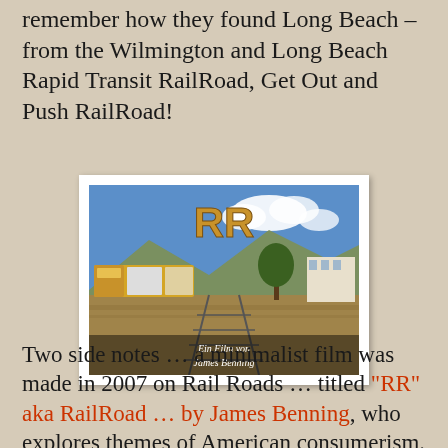remember how they found Long Beach – from the Wilmington and Long Beach Rapid Transit RailRoad, Get Out and Push RailRoad!
[Figure (photo): Movie poster/title card for 'RR' (RailRoad), a film by James Benning. Shows a railroad scene with a train, mountains, blue sky and clouds, and a tree. Large gold letters 'RR' appear at the top. Text at bottom reads 'Ein Film von James Benning'. White border frame around the image.]
Two side notes … a minimalist film was made in 2007 on Rail Roads … titled "RR" aka RailRoad … by James Benning, who explores themes of American consumerism.